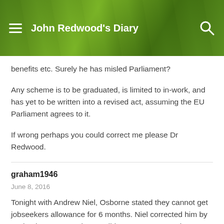John Redwood's Diary
benefits etc. Surely he has misled Parliament?
Any scheme is to be graduated, is limited to in-work, and has yet to be written into a revised act, assuming the EU Parliament agrees to it.
If wrong perhaps you could correct me please Dr Redwood.
graham1946
June 8, 2016
Tonight with Andrew Niel, Osborne stated they cannot get jobseekers allowance for 6 months. Niel corrected him by saying it was 3 months. He did not even seem to know this.